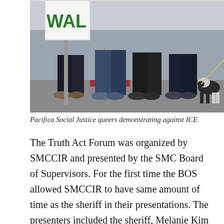[Figure (photo): Photo of people standing outdoors, one holding a sign with partial text 'WAL...', a dog visible on the right side. Pacifica Social Justice queers demonstrating against ICE.]
Pacifica Social Justice queers demonstrating against ICE
The Truth Act Forum was organized by SMCCIR and presented by the SMC Board of Supervisors. For the first time the BOS allowed SMCCIR to have same amount of time as the sheriff in their presentations. The presenters included the sheriff, Melanie Kim from Asian Law Caucus and SMCCIR, Scott Sherman, an attorney from the private defenders (San Mateo is one of the only counties in California with no public defender's office), and Angel Benito, a community leader who was deported